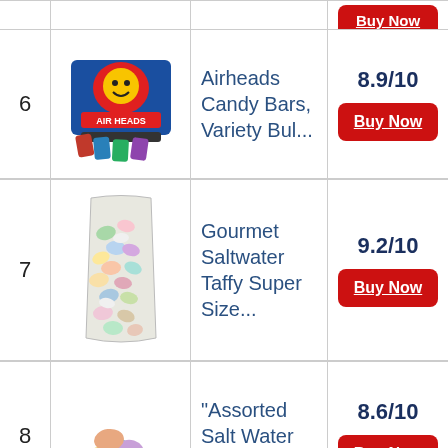| # | Image | Product | Score/Buy |
| --- | --- | --- | --- |
| 6 | [Airheads image] | Airheads Candy Bars, Variety Bul... | 8.9/10 | Buy Now |
| 7 | [Saltwater Taffy image] | Gourmet Saltwater Taffy Super Size... | 9.2/10 | Buy Now |
| 8 | [Assorted Taffy image] | "Assorted Salt Water Taffy Can... | 8.6/10 | Buy Now |